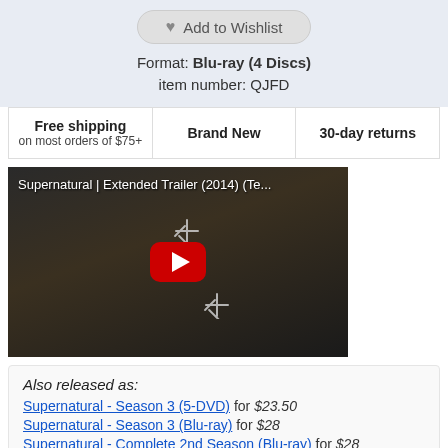Add to Wishlist
Format: Blu-ray (4 Discs)
item number: QJFD
Free shipping on most orders of $75+
Brand New
30-day returns
[Figure (screenshot): YouTube video thumbnail for 'Supernatural | Extended Trailer (2014) (Te...' showing a dark scene with weapons and a red YouTube play button overlay]
Also released as:
Supernatural - Season 3 (5-DVD) for $23.50
Supernatural - Season 3 (Blu-ray) for $28
Supernatural - Complete 2nd Season (Blu-ray) for $28
Supernatural - Complete 2nd Season (6-DVD) for $23.50